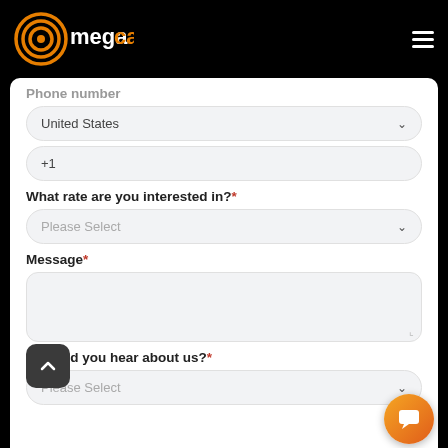[Figure (logo): MegaCall logo with orange circular waves and orange 'CALL' text, white 'mega' text]
Phone number
United States (dropdown)
+1 (phone input)
What rate are you interested in?*
Please Select (dropdown)
Message*
(textarea)
How did you hear about us?*
Please Select (dropdown)